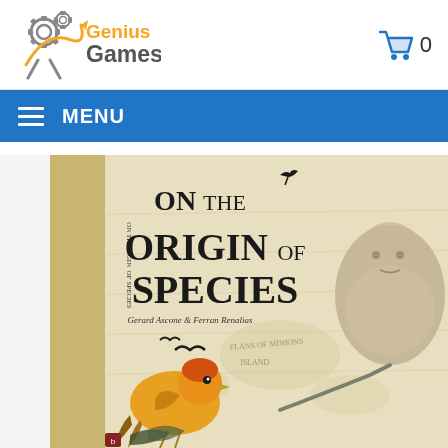Genius Games - logo and cart
MENU
[Figure (photo): Book cover of 'On the Origin of Species' by Gerard Ascone & Ferran Renalias, showing a yellow bird, Charles Darwin's portrait, flying birds, and a historical map background. The book's spine is visible on the left.]